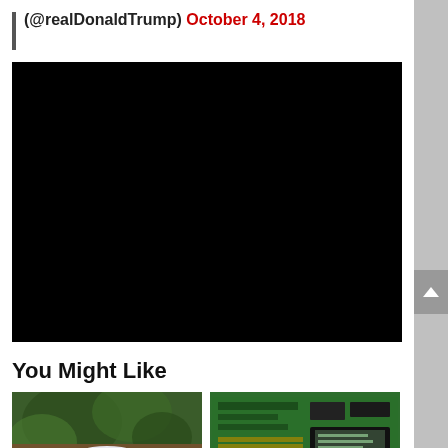(@realDonaldTrump) October 4, 2018
[Figure (photo): Black/blank embedded video player area]
You Might Like
[Figure (photo): Thumbnail of a plant and decorative dish on a wooden surface]
[Figure (photo): Thumbnail of a green circuit board with electronic components]